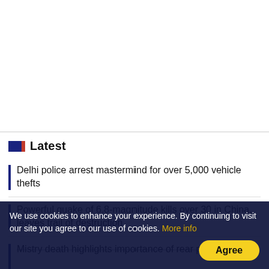Latest
Delhi police arrest mastermind for over 5,000 vehicle thefts
Powerful quake of 6.8-magnitude kills over 30 in China, leaves trail of destruction
Mistry death highlights importance of rear passengers
We use cookies to enhance your experience. By continuing to visit our site you agree to our use of cookies. More info